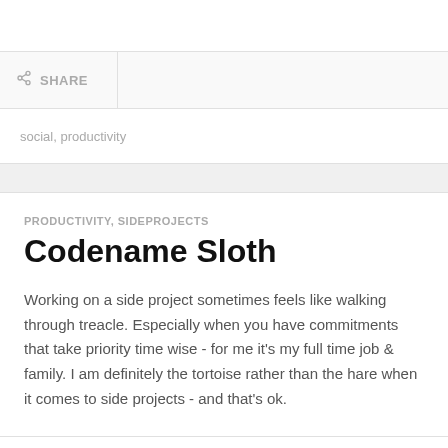SHARE
social, productivity
PRODUCTIVITY, SIDEPROJECTS
Codename Sloth
Working on a side project sometimes feels like walking through treacle. Especially when you have commitments that take priority time wise - for me it's my full time job & family. I am definitely the tortoise rather than the hare when it comes to side projects - and that's ok.